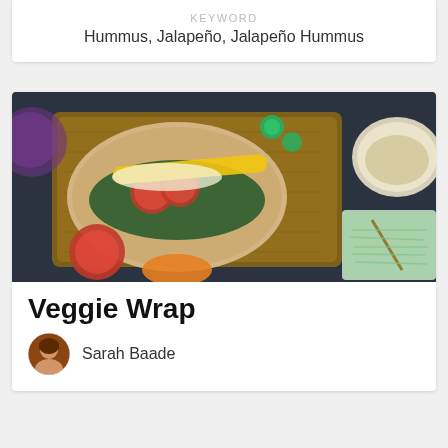KEYWORD
Hummus, Jalapeño, Jalapeño Hummus
[Figure (photo): Overhead photo of a veggie wrap on a wooden cutting board with toppings including yellow and red peppers, tomatoes, kale, and sprouts, alongside bowls of hummus and shredded cabbage on a dark background.]
Veggie Wrap
Sarah Baade